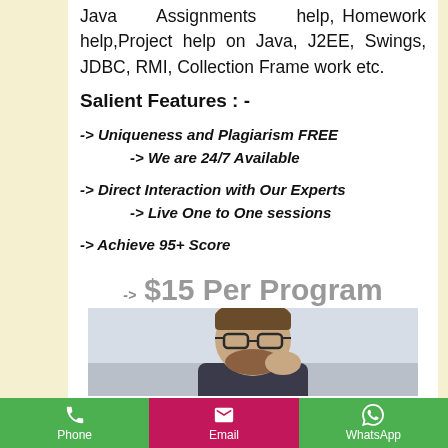Java Assignments help, Homework help,Project help on Java, J2EE, Swings, JDBC, RMI, Collection Frame work etc.
Salient Features : -
-> Uniqueness and Plagiarism FREE
-> We are 24/7 Available
-> Direct Interaction with Our Experts
-> Live One to One sessions
-> Achieve 95+ Score
-> $15 Per Program
[Figure (photo): A man with glasses and a beard, thinking, photographed from the side]
Phone   Email   WhatsApp